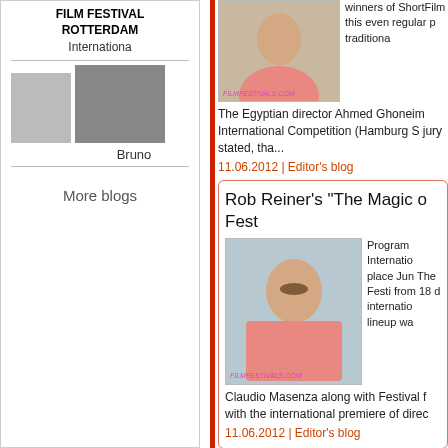FILM FESTIVAL ROTTERDAM
Internationa
[Figure (photo): Small photo placeholder (person) and larger photo of Bruno]
Bruno
More blogs
[Figure (photo): Photo of person with FILMFESTIVALS.COM watermark]
winners of ShortFilm this even regular p traditiona
The Egyptian director Ahmed Ghoneim International Competition (Hamburg S jury stated, tha...
11.06.2012 | Editor's blog
Rob Reiner's “The Magic o Fest
[Figure (photo): Photo of person in pink shirt with FILMFESTIVALS.COM watermark]
Program Internatio place Jun The Festi from 18 d internatio lineup wa
Claudio Masenza along with Festival f with the international premiere of direc
11.06.2012 | Editor's blog
Olhar de Cinema - Curitib